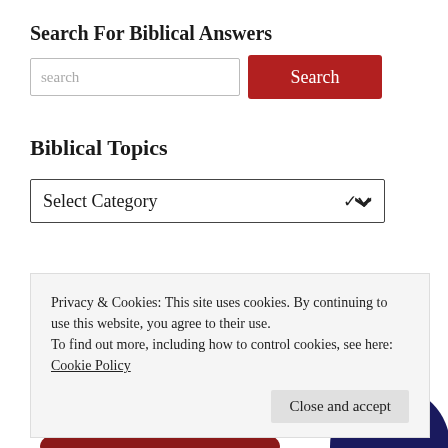Search For Biblical Answers
[Figure (screenshot): Search input box with placeholder text 'search' and a red Search button]
Biblical Topics
[Figure (screenshot): Dropdown select box labeled 'Select Category' with a chevron/arrow indicator]
[Figure (logo): Partial logo graphic with dark navy and red circular/arc shapes at the bottom of the page]
Privacy & Cookies: This site uses cookies. By continuing to use this website, you agree to their use.
To find out more, including how to control cookies, see here:
Cookie Policy
Close and accept